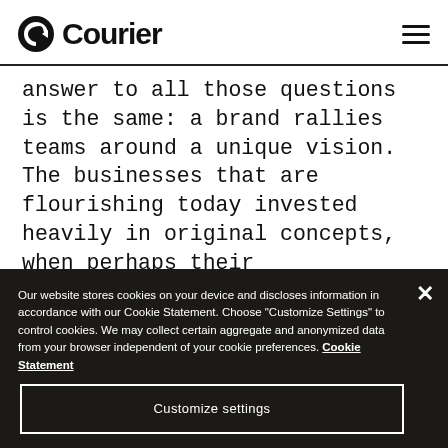Courier
answer to all those questions is the same: a brand rallies teams around a unique vision. The businesses that are flourishing today invested heavily in original concepts, when perhaps their spreadsheets, back at the beginning, were telling them not to. But a brand story is neither a paragraph of text nor a corporate entity united by a logo. It's a
Our website stores cookies on your device and discloses information in accordance with our Cookie Statement. Choose "Customize Settings" to control cookies. We may collect certain aggregate and anonymized data from your browser independent of your cookie preferences. Cookie Statement
Customize settings